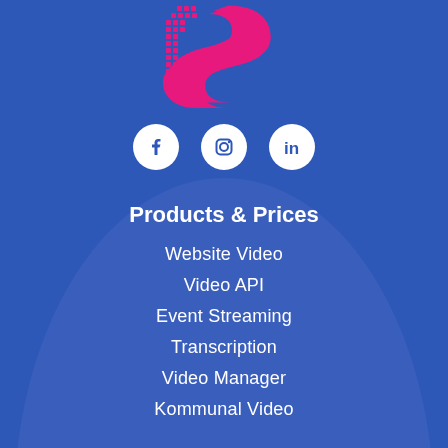[Figure (logo): Stylized pink/magenta letter S with dotted pixel pattern on blue background]
[Figure (illustration): Three social media icons in white circles: Facebook, Instagram, LinkedIn]
Products & Prices
Website Video
Video API
Event Streaming
Transcription
Video Manager
Kommunal Video